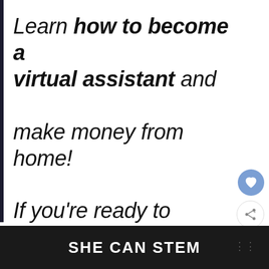Learn how to become a virtual assistant and make money from home!

If you're ready to jumpstart your VA career, be sure to sign up for this awesome mini-
SHE CAN STEM